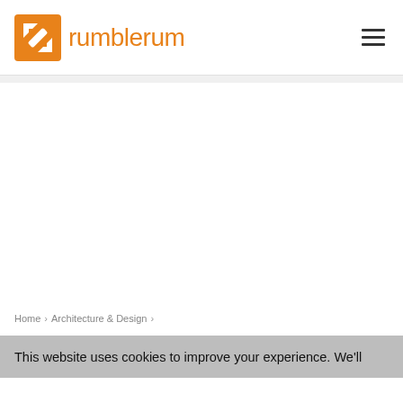rumblerum
Home > Architecture & Design >
This website uses cookies to improve your experience. We'll